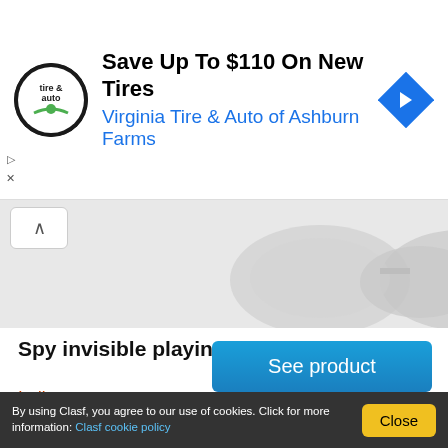[Figure (advertisement): Ad banner for Virginia Tire & Auto with circular logo, headline 'Save Up To $110 On New Tires', subline 'Virginia Tire & Auto of Ashburn Farms', and blue diamond navigation icon]
[Figure (photo): Partially visible product image showing blurred glasses/spy device product on light grey background]
Spy invisible playing cards in vadodara
India
SPY INVISIBLE PLAYING CARDS IN VADODARA, , http://spyindia.net/spy-playingcards-in-delhi.html, SPY INDIA (P) LTD IS ONLINE SHOPPING PLATFORM FOR SECURITY GADGETS IN INDIA. WE MANUFACTURES PLAYING CARDS FOR SECURITY PURPOSE AND
See product
By using Clasf, you agree to our use of cookies. Click for more information: Clasf cookie policy